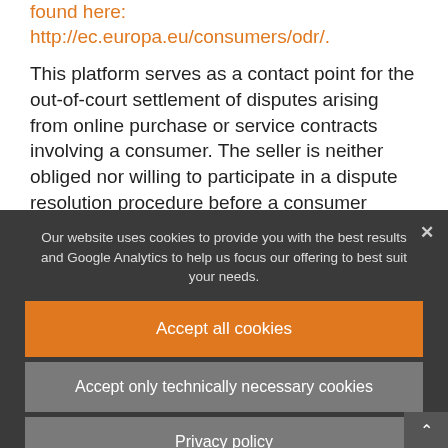found here: http://ec.europa.eu/consumers/odr/.
This platform serves as a contact point for the out-of-court settlement of disputes arising from online purchase or service contracts involving a consumer. The seller is neither obliged nor willing to participate in a dispute resolution procedure before a consumer arbitration board.
Our website uses cookies to provide you with the best results and Google Analytics to help us focus our offering to best suit your needs.
Accept all cookies
Accept only technically necessary cookies
Privacy policy